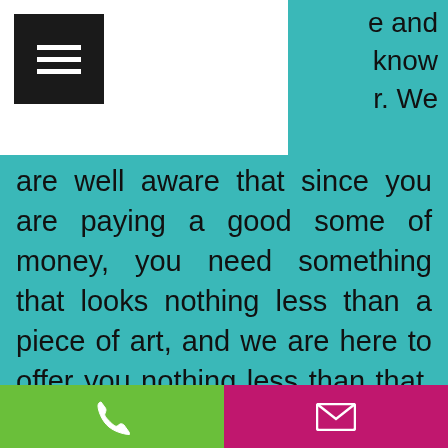[Figure (other): Hamburger menu icon (three horizontal white lines on black square background)]
e and know r. We are well aware that since you are paying a good some of money, you need something that looks nothing less than a piece of art, and we are here to offer you nothing less than that. Anyway, we appreciate the effort that you have put into building such a business and hence charge very little. We know that you are exhausted, both money wise and physically, and so we do not want to harass you.
Our company which is amazing at
[Figure (other): Green phone button and pink/magenta email button at bottom of page]